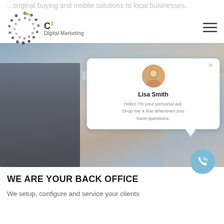C3 Digital Marketing
...original buying and mobile solutions to local businesses.
[Figure (screenshot): Office photo showing professionals working at computers, with a chat popup overlay featuring Lisa Smith avatar. Chat message: Hello! I'm your personal aid. Drop me a line whenever you have questions.]
WE ARE YOUR BACK OFFICE
We setup, configure and service your clients